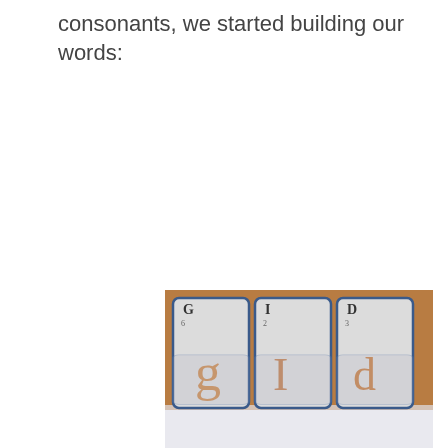consonants, we started building our words:
[Figure (photo): Three letter cards (G, I, D) laid out on a wooden table, each card showing an illustrated letter in decorative style, with a reflection visible below the cards.]